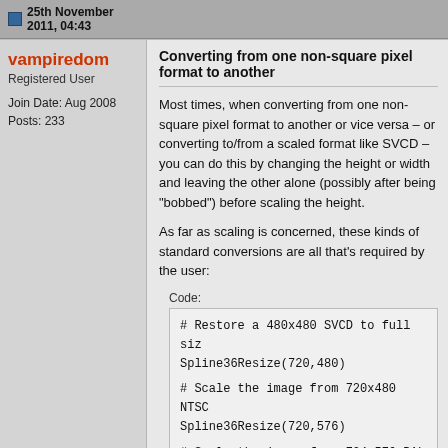25th November 2011, 04:43
vampiredom
Registered User
Join Date: Aug 2008
Posts: 233
Converting from one non-square pixel format to another
Most times, when converting from one non-square pixel format to another or vice versa – or converting to/from a scaled format like SVCD – you can do this by changing the height or width and leaving the other alone (possibly after being "bobbed") before scaling the height.
As far as scaling is concerned, these kinds of standard conversions are all that's required by the user:
Code:
Of course, for real NTSC<->PAL conversion, you need to also convert from 60Hz <-> 50Hz, but we are only discussing scaling.